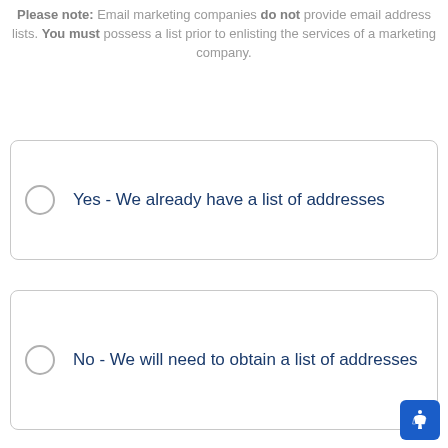Please note: Email marketing companies do not provide email address lists. You must possess a list prior to enlisting the services of a marketing company.
Yes - We already have a list of addresses
No - We will need to obtain a list of addresses